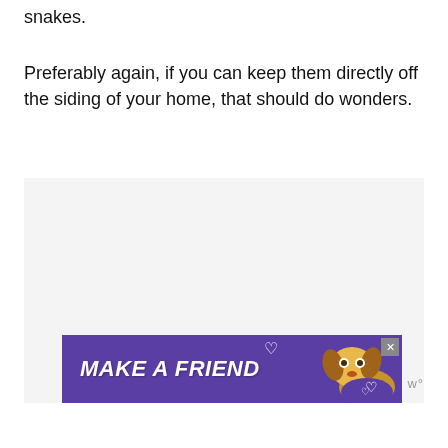snakes.
Preferably again, if you can keep them directly off the siding of your home, that should do wonders.
[Figure (other): Advertisement banner with purple background reading 'MAKE A FRIEND' in bold white italic text, with a dog image and heart icons. A close button (X) is visible at top right. A 'w°' logo appears to the right of the banner.]